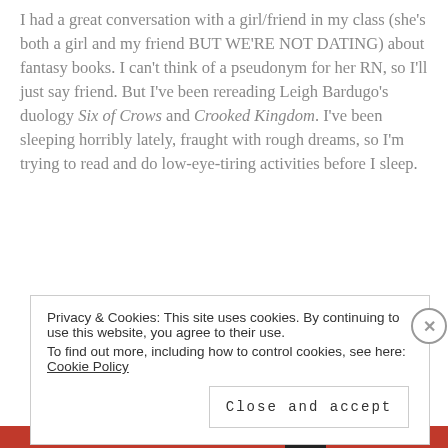I had a great conversation with a girl/friend in my class (she's both a girl and my friend BUT WE'RE NOT DATING) about fantasy books. I can't think of a pseudonym for her RN, so I'll just say friend. But I've been rereading Leigh Bardugo's duology Six of Crows and Crooked Kingdom. I've been sleeping horribly lately, fraught with rough dreams, so I'm trying to read and do low-eye-tiring activities before I sleep.
Privacy & Cookies: This site uses cookies. By continuing to use this website, you agree to their use. To find out more, including how to control cookies, see here: Cookie Policy
Close and accept